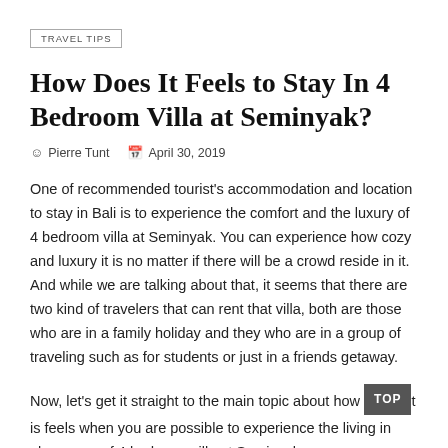TRAVEL TIPS
How Does It Feels to Stay In 4 Bedroom Villa at Seminyak?
Pierre Tunt   April 30, 2019
One of recommended tourist's accommodation and location to stay in Bali is to experience the comfort and the luxury of 4 bedroom villa at Seminyak. You can experience how cozy and luxury it is no matter if there will be a crowd reside in it. And while we are talking about that, it seems that there are two kind of travelers that can rent that villa, both are those who are in a family holiday and they who are in a group of traveling such as for students or just in a friends getaway.
Now, let's get it straight to the main topic about how it is feels when you are possible to experience the living in glamorous of 4 bedroom villa at Seminyak.